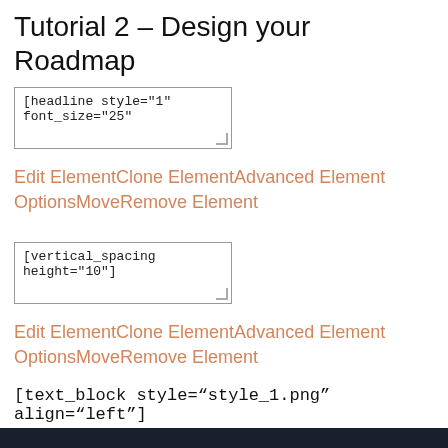Tutorial 2 – Design your Roadmap
[headline style="1" font_size="25"
Edit ElementClone ElementAdvanced Element OptionsMoveRemove Element
[vertical_spacing height="10"]
Edit ElementClone ElementAdvanced Element OptionsMoveRemove Element
[text_block style="style_1.png" align="left"]
from your connection. To continue, please confirm that youâ€™re a human (and not a spambot).